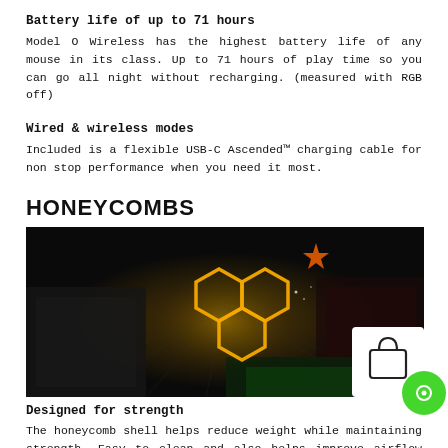Battery life of up to 71 hours
Model O Wireless has the highest battery life of any mouse in its class. Up to 71 hours of play time so you can go all night without recharging. (measured with RGB off)
Wired & wireless modes
Included is a flexible USB-C Ascended™ charging cable for non stop performance when you need it most.
HONEYCOMBS
[Figure (photo): Dark atmospheric gaming scene with glowing golden honeycomb hexagon pattern illuminated in center, with gaming peripherals and colorful lights in background. Shopping bag icon overlay in bottom right corner.]
Designed for strength
The honeycomb shell helps reduce weight while maintaining strength. Easy to clean and also helps improve airflow while you